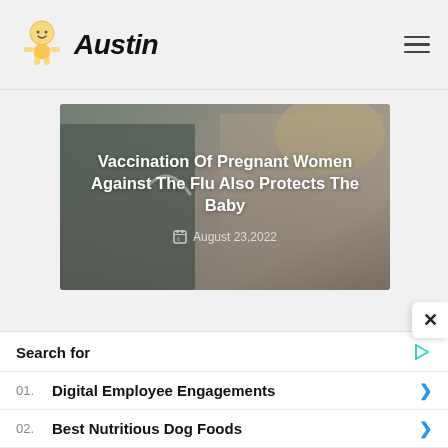Austin
[Figure (photo): A doctor using a stethoscope on a pregnant woman, with overlay text about flu vaccination]
Vaccination Of Pregnant Women Against The Flu Also Protects The Baby
August 23,2022
Search for
01. Digital Employee Engagements
02. Best Nutritious Dog Foods
Yahoo! Search | Sponsored